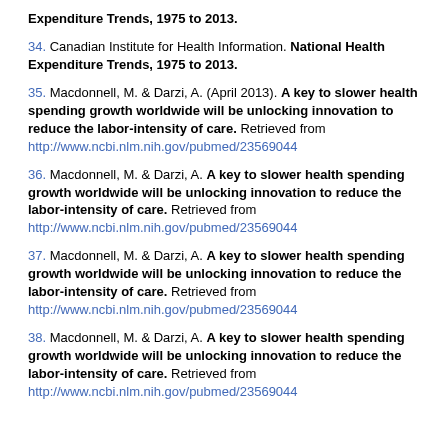Expenditure Trends, 1975 to 2013.
34. Canadian Institute for Health Information. National Health Expenditure Trends, 1975 to 2013.
35. Macdonnell, M. & Darzi, A. (April 2013). A key to slower health spending growth worldwide will be unlocking innovation to reduce the labor-intensity of care. Retrieved from http://www.ncbi.nlm.nih.gov/pubmed/23569044
36. Macdonnell, M. & Darzi, A. A key to slower health spending growth worldwide will be unlocking innovation to reduce the labor-intensity of care. Retrieved from http://www.ncbi.nlm.nih.gov/pubmed/23569044
37. Macdonnell, M. & Darzi, A. A key to slower health spending growth worldwide will be unlocking innovation to reduce the labor-intensity of care. Retrieved from http://www.ncbi.nlm.nih.gov/pubmed/23569044
38. Macdonnell, M. & Darzi, A. A key to slower health spending growth worldwide will be unlocking innovation to reduce the labor-intensity of care. Retrieved from http://www.ncbi.nlm.nih.gov/pubmed/23569044